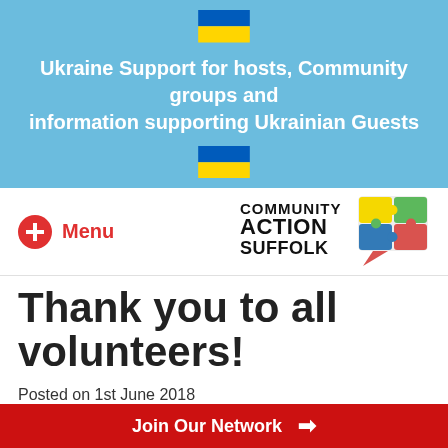[Figure (infographic): Light blue banner with two Ukraine flags (blue and yellow horizontal stripes) and white bold title text about Ukraine Support]
Ukraine Support for hosts, Community groups and information supporting Ukrainian Guests
[Figure (logo): Community Action Suffolk logo — puzzle piece speech bubble in multiple colors with bold text]
Menu
Thank you to all volunteers!
Posted on 1st June 2018
Join Our Network →